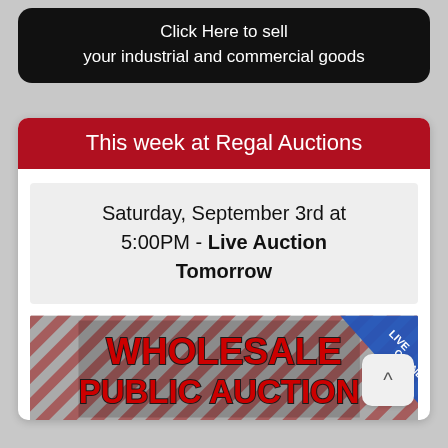Click Here to sell your industrial and commercial goods
This week at Regal Auctions
Saturday, September 3rd at 5:00PM - Live Auction Tomorrow
[Figure (illustration): Wholesale Public Auction banner with red bold text on a striped background and a blue triangle badge in top-right corner reading LIVE ONLINE]
Click here to view the listings